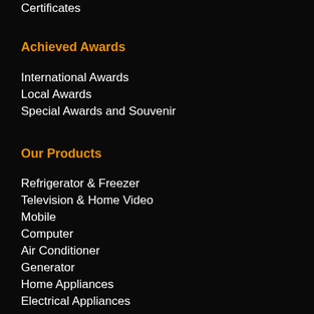Certificates
Achieved Awards
International Awards
Local Awards
Special Awards and Souvenir
Our Products
Refrigerator & Freezer
Television & Home Video
Mobile
Computer
Air Conditioner
Generator
Home Appliances
Electrical Appliances
Customer Care